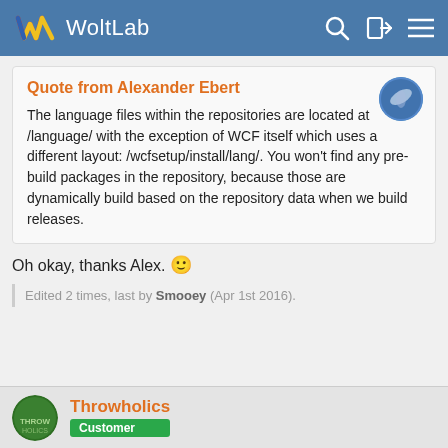WoltLab
Quote from Alexander Ebert
The language files within the repositories are located at /language/ with the exception of WCF itself which uses a different layout: /wcfsetup/install/lang/. You won't find any pre-build packages in the repository, because those are dynamically build based on the repository data when we build releases.
Oh okay, thanks Alex. 🙂
Edited 2 times, last by Smooey (Apr 1st 2016).
Throwholics
Customer